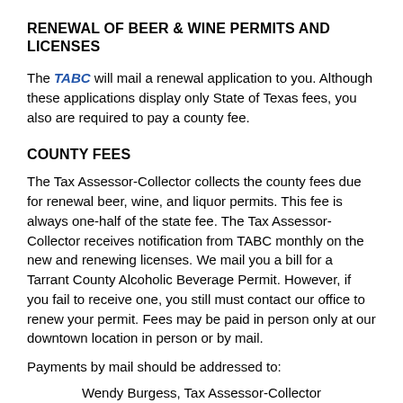RENEWAL OF BEER & WINE PERMITS AND LICENSES
The TABC will mail a renewal application to you. Although these applications display only State of Texas fees, you also are required to pay a county fee.
COUNTY FEES
The Tax Assessor-Collector collects the county fees due for renewal beer, wine, and liquor permits. This fee is always one-half of the state fee. The Tax Assessor-Collector receives notification from TABC monthly on the new and renewing licenses. We mail you a bill for a Tarrant County Alcoholic Beverage Permit. However, if you fail to receive one, you still must contact our office to renew your permit. Fees may be paid in person only at our downtown location in person or by mail.
Payments by mail should be addressed to:
Wendy Burgess, Tax Assessor-Collector
Attn: Beer & Liquor Cashier
100 E. Weatherford